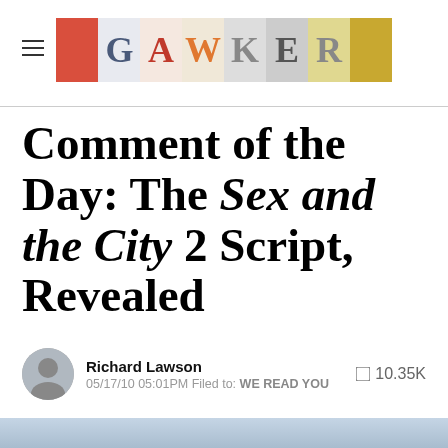GAWKER
Comment of the Day: The Sex and the City 2 Script, Revealed
Richard Lawson  10.35K  05/17/10 05:01PM Filed to: WE READ YOU
[Figure (photo): Bottom portion of article header photo showing a person with long hair and sunglasses]